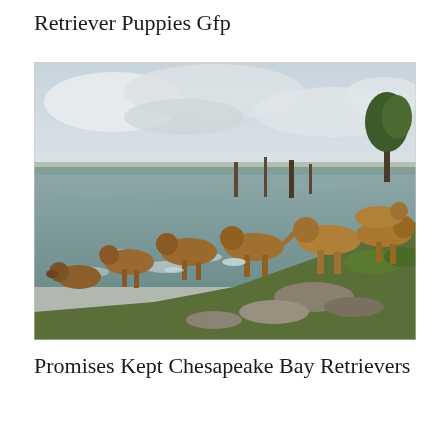Retriever Puppies Gfp
[Figure (photo): A group of Chesapeake Bay Retriever dogs playing and running along the shoreline of a lake or bay, splashing through the water near a grassy rocky bank. Trees and water visible in the background under a cloudy sky.]
Promises Kept Chesapeake Bay Retrievers